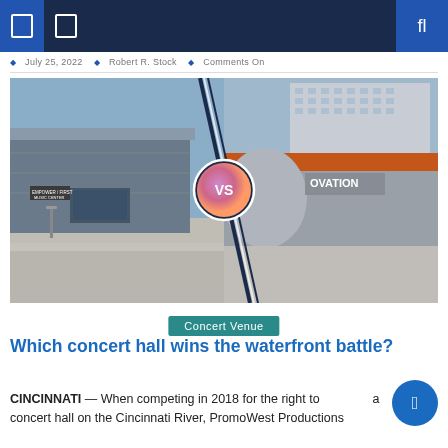Navigation bar with icons
July 25, 2022  Robert R. Stock  Comments On
[Figure (photo): Split composite image showing two concert venues side by side with a VS badge overlay in the center. Left side shows the Empower / First Music Center exterior, right side shows the Ovation concert venue exterior.]
Concert Venue
Which concert hall wins the waterfront battle?
CINCINNATI — When competing in 2018 for the right to build a concert hall on the Cincinnati River, PromoWest Productions